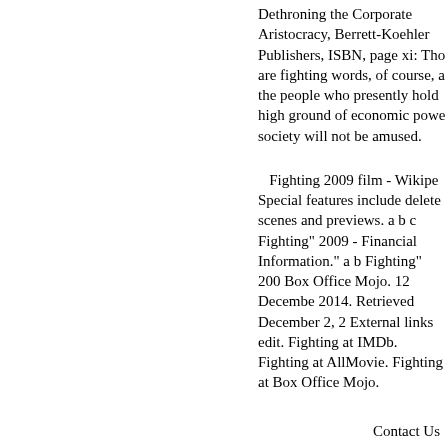Dethroning the Corporate Aristocracy, Berrett-Koehler Publishers, ISBN, page xi: Those are fighting words, of course, and the people who presently hold the high ground of economic power in society will not be amused.
Fighting 2009 film - Wikipedia. Special features include deleted scenes and previews. a b c Fighting" 2009 - Financial Information." a b Fighting" 2009. Box Office Mojo. 12 December 2014. Retrieved December 2, 2014. External links edit. Fighting at IMDb. Fighting at AllMovie. Fighting at Box Office Mojo.
Contact Us